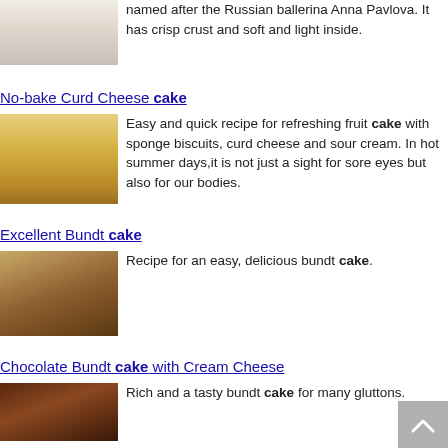[Figure (photo): Pavlova cake with berries on top, white cream]
named after the Russian ballerina Anna Pavlova. It has crisp crust and soft and light inside.
No-bake Curd Cheese cake
[Figure (photo): No-bake curd cheese cake with sponge biscuits around the outside, topped with berries]
Easy and quick recipe for refreshing fruit cake with sponge biscuits, curd cheese and sour cream. In hot summer days,it is not just a sight for sore eyes but also for our bodies.
Excellent Bundt cake
[Figure (photo): Sliced bundt cake on a plate]
Recipe for an easy, delicious bundt cake.
Chocolate Bundt cake with Cream Cheese
[Figure (photo): Chocolate bundt cake with cream cheese, partially visible]
Rich and a tasty bundt cake for many gluttons.